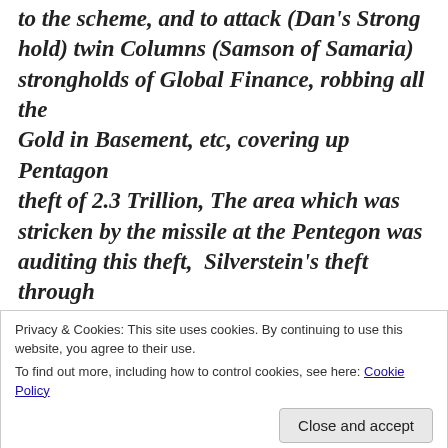to the scheme, and to attack (Dan's Stronghold) twin Columns (Samson of Samaria) strongholds of Global Finance, robbing all the Gold in Basement, etc, covering up Pentagon theft of 2.3 Trillion, The area which was stricken by the missile at the Pentegon was auditing this theft, Silverstein's theft through jewish insurance agencies, insider trading scams, hiding the conspiracy of the five Israeli's involved and murdering over 3000 US citizens, starting the Afghanistan and Iraq wars, to meet their prophets of Baal's war
Privacy & Cookies: This site uses cookies. By continuing to use this website, you agree to their use.
To find out more, including how to control cookies, see here: Cookie Policy
Sharon(south) for Purim Iraq, March 2003, The